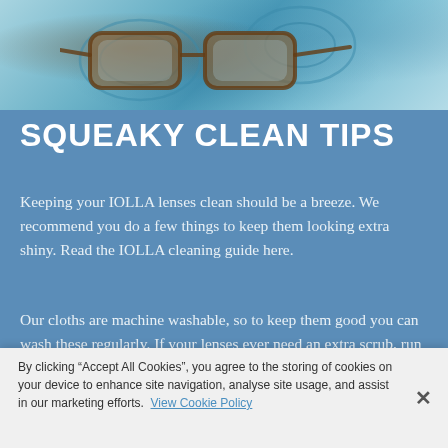[Figure (photo): Close-up photo of eyeglasses resting on a blue/teal patterned fabric cloth, showing the lens cleaning cloth]
SQUEAKY CLEAN TIPS
Keeping your IOLLA lenses clean should be a breeze. We recommend you do a few things to keep them looking extra shiny. Read the IOLLA cleaning guide here.
Our cloths are machine washable, so to keep them good you can wash these regularly. If your lenses ever need an extra scrub, run warm water over them in the sink and dry them off with a towel. To
By clicking “Accept All Cookies”, you agree to the storing of cookies on your device to enhance site navigation, analyse site usage, and assist in our marketing efforts. View Cookie Policy